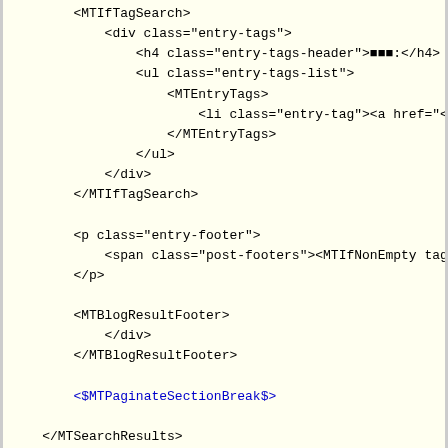Code snippet showing XML/template tags including MTIfTagSearch, MTEntryTags, MTBlogResultFooter, MTSearchResults, MTPaginateContent, and MTPaginate template tags with HTML markup.